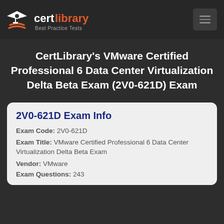[Figure (logo): CertLibrary logo with graduation cap icon and text 'certlibrary Best Practice Tests']
CertLibrary's VMware Certified Professional 6 Data Center Virtualization Delta Beta Exam (2V0-621D) Exam
2V0-621D Exam Info
Exam Code: 2V0-621D
Exam Title: VMware Certified Professional 6 Data Center Virtualization Delta Beta Exam
Vendor: VMware
Exam Questions: 243